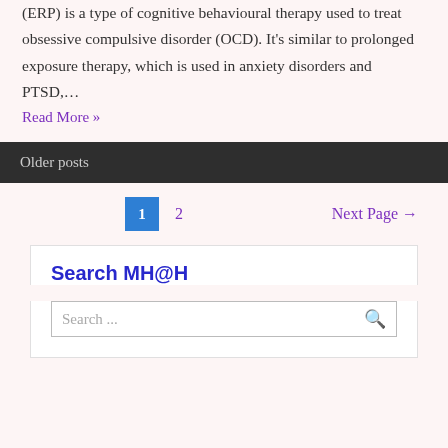(ERP) is a type of cognitive behavioural therapy used to treat obsessive compulsive disorder (OCD). It’s similar to prolonged exposure therapy, which is used in anxiety disorders and PTSD,…
Read More »
Older posts
1  2  Next Page →
Search MH@H
Search ...